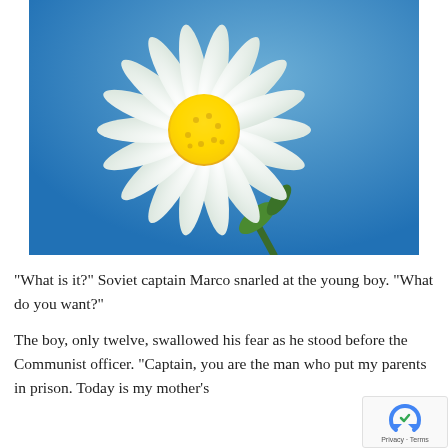[Figure (photo): Close-up photograph of a white daisy flower with a yellow center against a blue sky background, with a green stem visible]
"What is it?" Soviet captain Marco snarled at the young boy. "What do you want?"
The boy, only twelve, swallowed his fear as he stood before the Communist officer. "Captain, you are the man who put my parents in prison. Today is my mother's